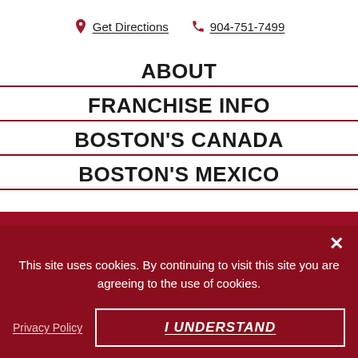Get Directions  904-751-7499
ABOUT
FRANCHISE INFO
BOSTON'S CANADA
BOSTON'S MEXICO
Privacy Policy
This site uses cookies. By continuing to visit this site you are agreeing to the use of cookies.
Privacy Policy
I UNDERSTAND